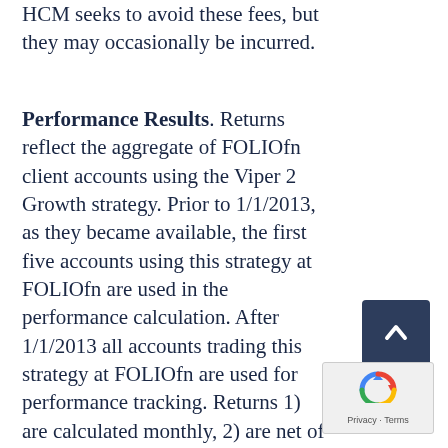HCM seeks to avoid these fees, but they may occasionally be incurred.
Performance Results. Returns reflect the aggregate of FOLIOfn client accounts using the Viper 2 Growth strategy. Prior to 1/1/2013, as they became available, the first five accounts using this strategy at FOLIOfn are used in the performance calculation. After 1/1/2013 all accounts trading this strategy at FOLIOfn are used for performance tracking. Returns 1) are calculated monthly, 2) are net of advisory fees, deducted monthly in advance, 3) reflect the reinvestment of all income, and 4) are calculated